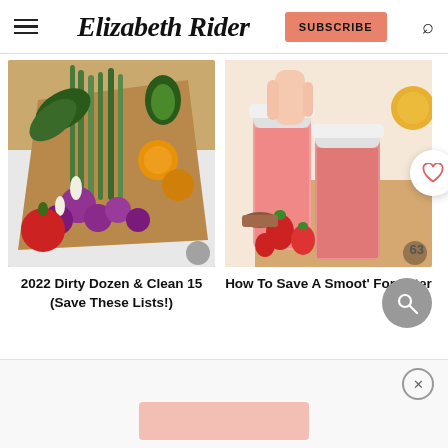Elizabeth Rider — SUBSCRIBE
[Figure (photo): Colorful vegetables and fruits arranged on a wooden cutting board, including asparagus, purple radishes, orange tomatoes, avocado, and a red tomato on a white marble surface]
[Figure (photo): Two pink strawberry smoothies in mason jars on a wooden board with fresh strawberries, with a hand holding one jar, and a small bowl of strawberries]
2022 Dirty Dozen & Clean 15 (Save These Lists!)
How To Save A Smoot' For Later